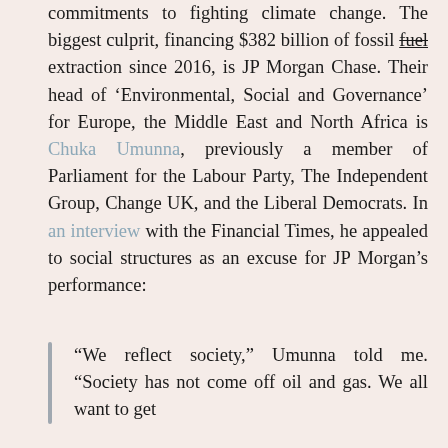commitments to fighting climate change. The biggest culprit, financing $382 billion of fossil fuel extraction since 2016, is JP Morgan Chase. Their head of 'Environmental, Social and Governance' for Europe, the Middle East and North Africa is Chuka Umunna, previously a member of Parliament for the Labour Party, The Independent Group, Change UK, and the Liberal Democrats. In an interview with the Financial Times, he appealed to social structures as an excuse for JP Morgan's performance:
“We reflect society,” Umunna told me. “Society has not come off oil and gas. We all want to get